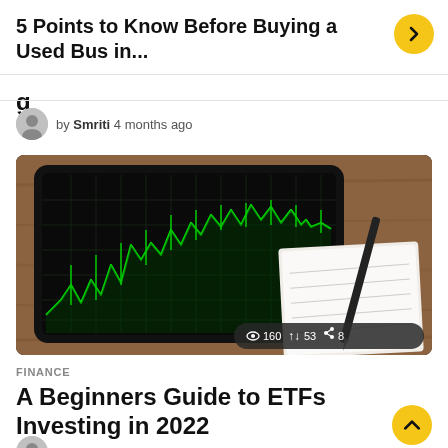5 Points to Know Before Buying a Used Bus in...
by Smriti 4 months ago
[Figure (photo): Tablet showing a green candlestick/line stock chart on a dark background, placed on a wooden surface next to a notepad and pen. Stats overlay: 160 views, 53 shares, 8 shares.]
FINANCE
A Beginners Guide to ETFs Investing in 2022